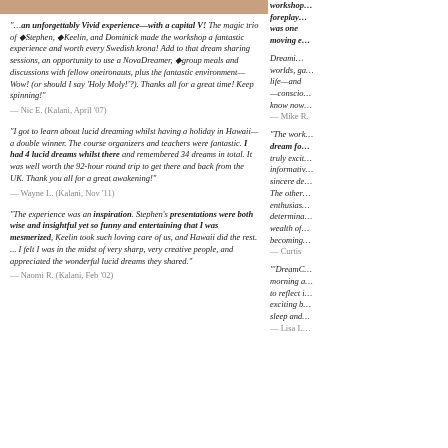[Figure (photo): Photo strip at top of left column showing people at a workshop]
"...an unforgettably Vivid experience—with a capital V! The magic trio of ✦Stephen, ✦Keelin, and Dominick made the workshop a fantastic experience and worth every Swedish krona! Add to that dream sharing sessions, an opportunity to use a NovaDreamer, ✦group meals and discussions with fellow oneironauts, plus the fantastic environment—Wow! (or should I say 'Holy Moly!'?). Thanks all for a great time! Keep spinning!"
— Nic E. (Kalani, April '07)
"I got to learn about lucid dreaming whilst having a holiday in Hawaii—a double winner. The course organizers and teachers were fantastic. I had 4 lucid dreams whilst there and remembered 34 dreams in total. It was well worth the 92-hour round trip to get there and back from the UK. Thank you all for a great awakening!"
— Wayne L. (Kalani, Nov '11)
"The experience was an inspiration. Stephen's presentations were both wise and insightful yet so funny and entertaining that I was mesmerized, Keelin took such loving care of us, and Hawaii did the rest. ... I felt I was in the midst of very sharp, very creative people, and appreciated the wonderful lucid dreams they shared."
— Naomi R. (Kalani, Feb '02)
workshop... foreplay... was one... moving e...
Dreaming... worlds, ga... life—and... —conscio... know now...
— Mike R.
"The work... dream fo... truly excit... informativ... sincere de... The other... enthusias... determina... wealth of... becoming...
— Curtis
'DreamC... morning a... to reflect i... exciting b... sleep and...
— Lisa L.